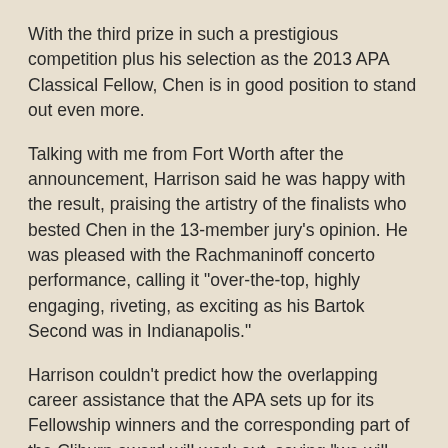With the third prize in such a prestigious competition plus his selection as the 2013 APA Classical Fellow, Chen is in good position to stand out even more.
Talking with me from Fort Worth after the announcement, Harrison said he was happy with the result, praising the artistry of the finalists who bested Chen in the 13-member jury's opinion. He was pleased with the Rachmaninoff concerto performance, calling it "over-the-top, highly engaging, riveting, as exciting as his Bartok Second was in Indianapolis."
Harrison couldn't predict how the overlapping career assistance that the APA sets up for its Fellowship winners and the corresponding part of the Cliburn award will work out, saying "we will just have to coordinate."  No matter how much the engagements resulting from the two prizes pack Chen's schedule, however, "he won't burn out," Harrison predicted. "That's not in him. He knows how to pace himself. He'll do a great job."